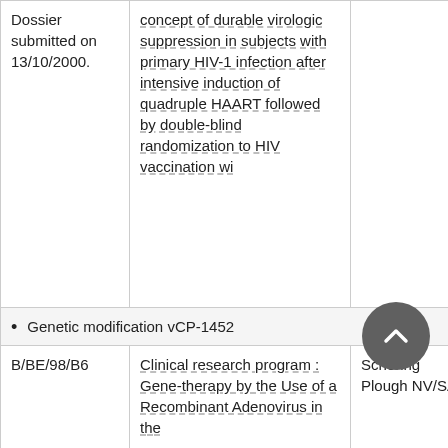|  | Description | Sponsor |  |
| --- | --- | --- | --- |
| Dossier submitted on 13/10/2000. | concept of durable virologic suppression in subjects with primary HIV-1 infection after intensive induction of quadruple HAART followed by double-blind randomization to HIV vaccination wi |  |  |
|  | Genetic modification vCP-1452 |  |  |
| B/BE/98/B6 | Clinical research program : Gene-therapy by the Use of a Recombinant Adenovirus in the | Schering Plough NV/SA |  |